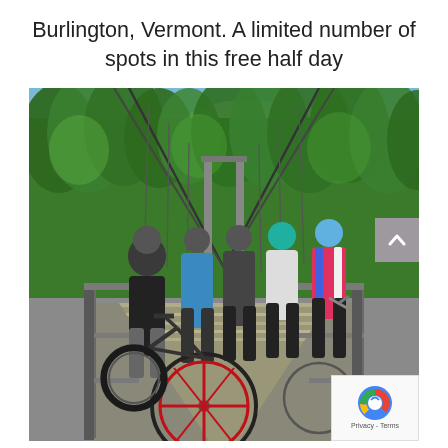Burlington, Vermont. A limited number of spots in this free half day
[Figure (photo): Group of five cyclists with helmets posing on a suspension bridge surrounded by green trees on a sunny day. A red bicycle is prominently in the foreground. A scroll-up button and reCAPTCHA badge overlay the bottom-right corner.]